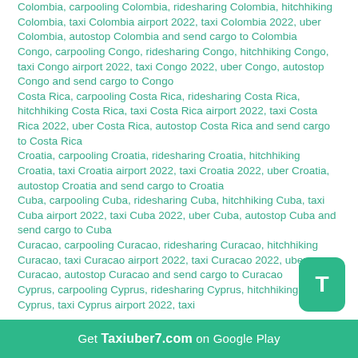Colombia, carpooling Colombia, ridesharing Colombia, hitchhiking Colombia, taxi Colombia airport 2022, taxi Colombia 2022, uber Colombia, autostop Colombia and send cargo to Colombia
Congo, carpooling Congo, ridesharing Congo, hitchhiking Congo, taxi Congo airport 2022, taxi Congo 2022, uber Congo, autostop Congo and send cargo to Congo
Costa Rica, carpooling Costa Rica, ridesharing Costa Rica, hitchhiking Costa Rica, taxi Costa Rica airport 2022, taxi Costa Rica 2022, uber Costa Rica, autostop Costa Rica and send cargo to Costa Rica
Croatia, carpooling Croatia, ridesharing Croatia, hitchhiking Croatia, taxi Croatia airport 2022, taxi Croatia 2022, uber Croatia, autostop Croatia and send cargo to Croatia
Cuba, carpooling Cuba, ridesharing Cuba, hitchhiking Cuba, taxi Cuba airport 2022, taxi Cuba 2022, uber Cuba, autostop Cuba and send cargo to Cuba
Curacao, carpooling Curacao, ridesharing Curacao, hitchhiking Curacao, taxi Curacao airport 2022, taxi Curacao 2022, uber Curacao, autostop Curacao and send cargo to Curacao
Cyprus, carpooling Cyprus, ridesharing Cyprus, hitchhiking Cyprus, taxi Cyprus airport 2022, taxi
Get Taxiuber7.com on Google Play